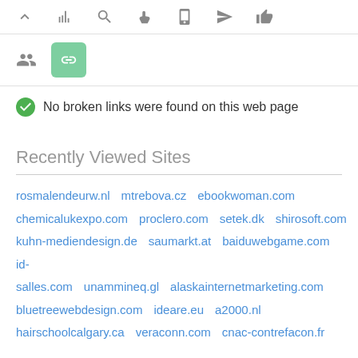[Figure (screenshot): Toolbar row with icons: chevron up, bar chart, search, hand pointer, phone/tablet, paper plane, thumbs up]
[Figure (screenshot): Second toolbar row with people icon and a green highlighted link icon button]
No broken links were found on this web page
Recently Viewed Sites
rosmalendeurw.nl  mtrebova.cz  ebookwoman.com  chemicalukexpo.com  proclero.com  setek.dk  shirosoft.com  kuhn-mediendesign.de  saumarkt.at  baiduwebgame.com  id-salles.com  unammineq.gl  alaskainternetmarketing.com  bluetreewebdesign.com  ideare.eu  a2000.nl  hairschoolcalgary.ca  veraconn.com  cnac-contrefacon.fr